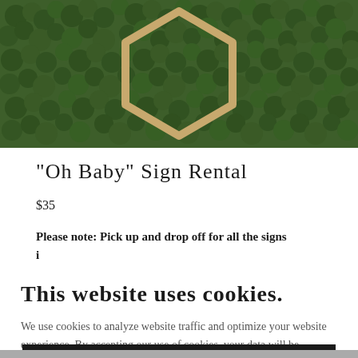[Figure (photo): Photo of a wooden hexagonal 'Oh Baby' sign against a green hedge/boxwood wall background. The sign is made of light wood with geometric hexagon shape.]
"Oh Baby" Sign Rental
$35
Please note: Pick up and drop off for all the signs is your responsibility.
This website uses cookies.
We use cookies to analyze website traffic and optimize your website experience. By accepting our use of cookies, your data will be aggregated with all other user data.
ACCEPT